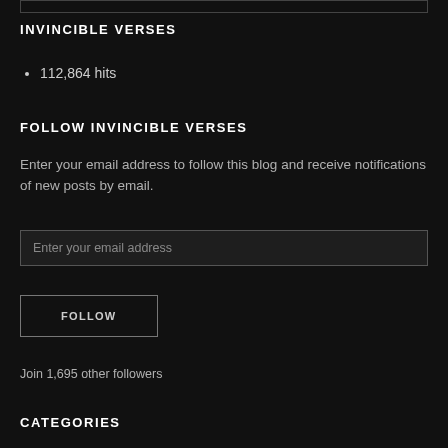INVINCIBLE VERSES
112,864 hits
FOLLOW INVINCIBLE VERSES
Enter your email address to follow this blog and receive notifications of new posts by email.
Enter your email address
FOLLOW
Join 1,695 other followers
CATEGORIES